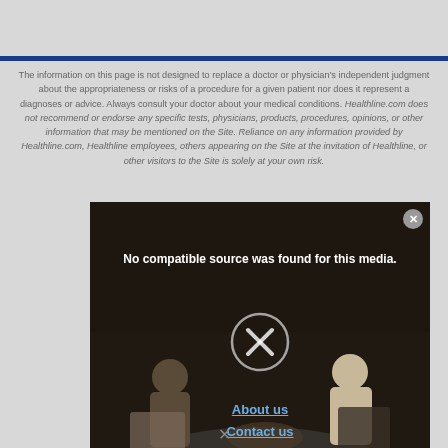The information on this page is not designed to replace a doctor or physician's independent judgment about the appropriateness or risks of a procedure for a given patient nor does it represent a diagnoses or advice. Always consult your doctor about your medical conditions. Healthline.com does not recommend or endorse any specific tests, physicians, products, procedures, opinions, or other information that may be mentioned on the Site. Reliance on any information provided by Healthline.com, Healthline employees, others appearing on the Site at the invitation of Healthline, or other visitors to the Site is solely at your own risk.
[Figure (screenshot): Video player overlay showing 'No compatible source was found for this media.' message with an X circle icon, over a background scene of people sitting in chairs. The overlay has a close button (X) in the top right corner. Below the X icon there are links: 'About us', 'Contact us', and 'Editorial team'.]